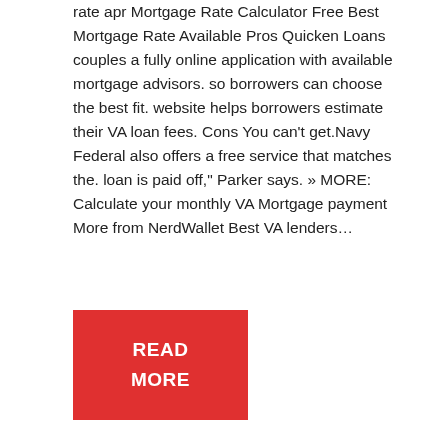rate apr Mortgage Rate Calculator Free Best Mortgage Rate Available Pros Quicken Loans couples a fully online application with available mortgage advisors. so borrowers can choose the best fit. website helps borrowers estimate their VA loan fees. Cons You can't get.Navy Federal also offers a free service that matches the. loan is paid off," Parker says. » MORE: Calculate your monthly VA Mortgage payment More from NerdWallet Best VA lenders…
[Figure (other): Red 'READ MORE' button]
Commercial Mortgage Refinancing
Commercial Loan Closing Costs
McCollum